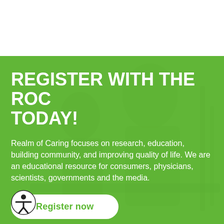[Figure (photo): Green semi-transparent overlay on a background photo of two people (a man and a woman) sitting at a table in a business/meeting setting. The green overlay dominates most of the lower portion of the page.]
REGISTER WITH THE RoC TODAY!
Realm of Caring focuses on research, education, building community, and improving quality of life. We are an educational resource for consumers, physicians, scientists, governments and the media.
Register now